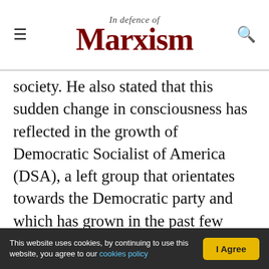In defence of Marxism
society. He also stated that this sudden change in consciousness has reflected in the growth of Democratic Socialist of America (DSA), a left group that orientates towards the Democratic party and which has grown in the past few years as a result of the general radicalisation in society.
He then proceeded to speak extensively on the situation in Europe. He stated that the Brexit phenomenon in the UK was another example of the mood of anger and frustration that exists everywhere. According to him, those who were most shocked by the result of the referendum were
This website uses cookies, by continuing to use this website, you agree to our cookies policy  |  I Agree